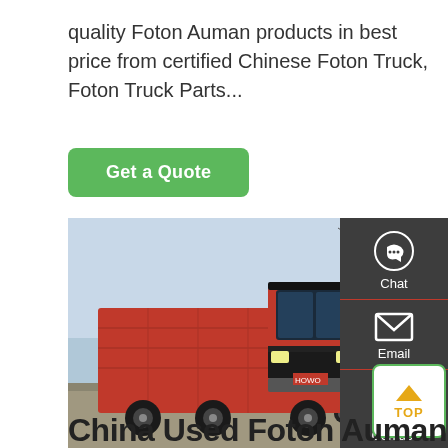quality Foton Auman products in best price from certified Chinese Foton Truck, Foton Truck Parts...
[Figure (other): Green 'Get a Quote' button]
[Figure (photo): Red HOWO dump truck parked in a lot with teal truck visible in background, power lines and trees in the background. Right side has dark gray sidebar with Chat, Email, and Contact icons.]
China Used Foton Auman